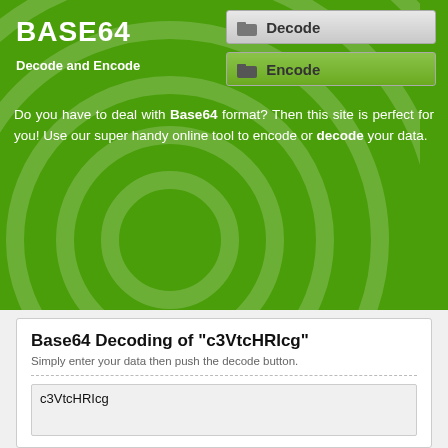BASE64
Decode and Encode
[Figure (screenshot): Decode navigation button with folder icon]
[Figure (screenshot): Encode navigation button with folder icon]
Do you have to deal with Base64 format? Then this site is perfect for you! Use our super handy online tool to encode or decode your data.
Base64 Decoding of "c3VtcHRIcg"
Simply enter your data then push the decode button.
c3VtcHRIcg